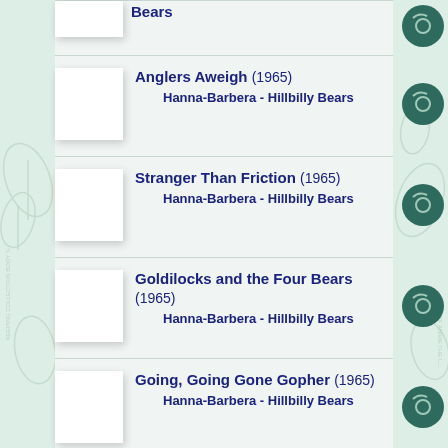Bears
Anglers Aweigh (1965)
Hanna-Barbera - Hillbilly Bears
Stranger Than Friction (1965)
Hanna-Barbera - Hillbilly Bears
Goldilocks and the Four Bears (1965)
Hanna-Barbera - Hillbilly Bears
Going, Going Gone Gopher (1965)
Hanna-Barbera - Hillbilly Bears